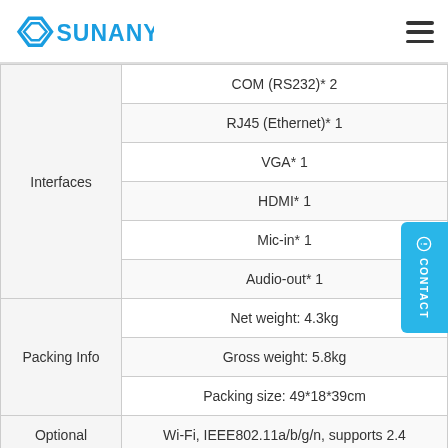SUNANY
| Category | Specification |
| --- | --- |
| Interfaces | COM (RS232)* 2 |
| Interfaces | RJ45 (Ethernet)* 1 |
| Interfaces | VGA* 1 |
| Interfaces | HDMI* 1 |
| Interfaces | Mic-in* 1 |
| Interfaces | Audio-out* 1 |
| Packing Info | Net weight: 4.3kg |
| Packing Info | Gross weight: 5.8kg |
| Packing Info | Packing size: 49*18*39cm |
| Optional | Wi-Fi, IEEE802.11a/b/g/n, supports 2.4 |